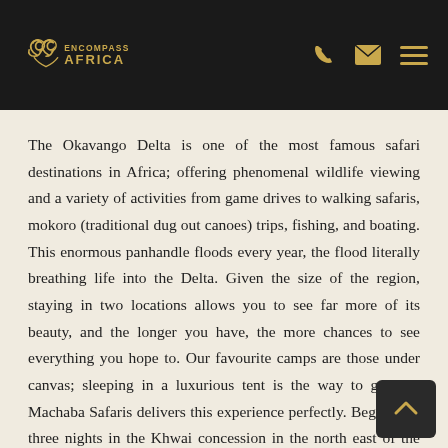[Figure (logo): Encompass Africa logo with decorative swirl icon and text 'ENCOMPASS AFRICA' in gold on black background, with phone, email, and hamburger menu icons on the right]
The Okavango Delta is one of the most famous safari destinations in Africa; offering phenomenal wildlife viewing and a variety of activities from game drives to walking safaris, mokoro (traditional dug out canoes) trips, fishing, and boating. This enormous panhandle floods every year, the flood literally breathing life into the Delta. Given the size of the region, staying in two locations allows you to see far more of its beauty, and the longer you have, the more chances to see everything you hope to. Our favourite camps are those under canvas; sleeping in a luxurious tent is the way to go, and Machaba Safaris delivers this experience perfectly. Begin with three nights in the Khwai concession in the north east of the Okavango Delta before finishing with 3 nights at Gomoti Plains, located on a private concession – meaning you will see no other